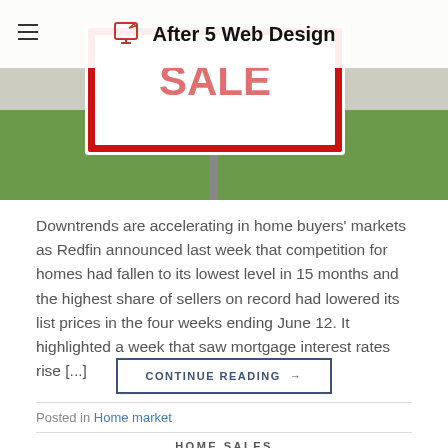[Figure (photo): Partial view of a real estate for-sale sign with red and white colors against a green lawn background, with a website header overlay showing 'After 5 Web Design' logo and title]
After 5 Web Design
Downtrends are accelerating in home buyers' markets as Redfin announced last week that competition for homes had fallen to its lowest level in 15 months and the highest share of sellers on record had lowered its list prices in the four weeks ending June 12. It highlighted a week that saw mortgage interest rates rise [...]
CONTINUE READING →
Posted in Home market
HOME SALES